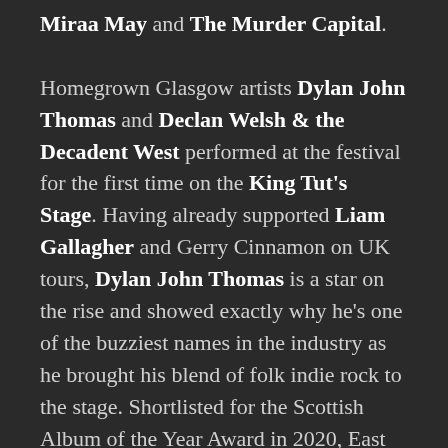Miraa May and The Murder Capital.

Homegrown Glasgow artists Dylan John Thomas and Declan Welsh & the Decadent West performed at the festival for the first time on the King Tut's Stage. Having already supported Liam Gallagher and Gerry Cinnamon on UK tours, Dylan John Thomas is a star on the rise and showed exactly why he's one of the buzziest names in the industry as he brought his blend of folk indie rock to the stage. Shortlisted for the Scottish Album of the Year Award in 2020, East Kilbride outfit Declan Welsh & the Decadent West reminded the crowd exactly why their debut album